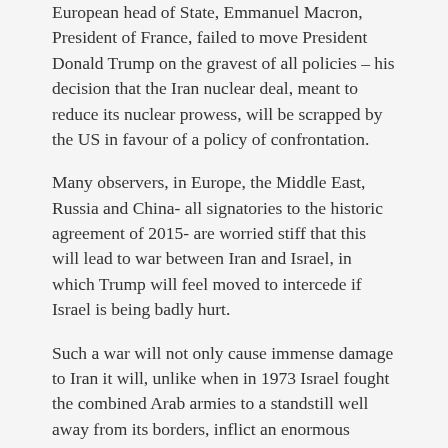European head of State, Emmanuel Macron, President of France, failed to move President Donald Trump on the gravest of all policies – his decision that the Iran nuclear deal, meant to reduce its nuclear prowess, will be scrapped by the US in favour of a policy of confrontation.
Many observers, in Europe, the Middle East, Russia and China- all signatories to the historic agreement of 2015- are worried stiff that this will lead to war between Iran and Israel, in which Trump will feel moved to intercede if Israel is being badly hurt.
Such a war will not only cause immense damage to Iran it will, unlike when in 1973 Israel fought the combined Arab armies to a standstill well away from its borders, inflict an enormous amount of damage inside Israel. Despite the so-called iron-dome that protects Israel against rockets, enough will get through to cause immense loss of life.
Europe doesn't want to live cheek by jowl with that kind of inferno. Nor with the chaos. It doesn't want to ...